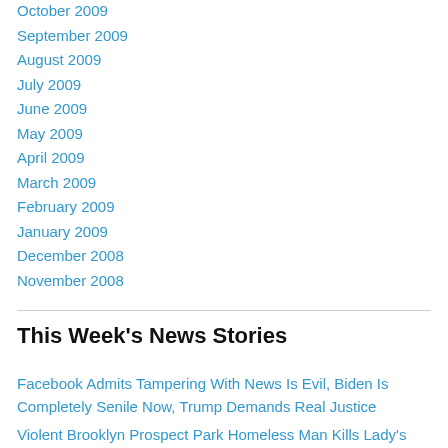October 2009
September 2009
August 2009
July 2009
June 2009
May 2009
April 2009
March 2009
February 2009
January 2009
December 2008
November 2008
This Week's News Stories
Facebook Admits Tampering With News Is Evil, Biden Is Completely Senile Now, Trump Demands Real Justice
Violent Brooklyn Prospect Park Homeless Man Kills Lady's Dog, Police Can Do Nothing To Stop Known Criminal